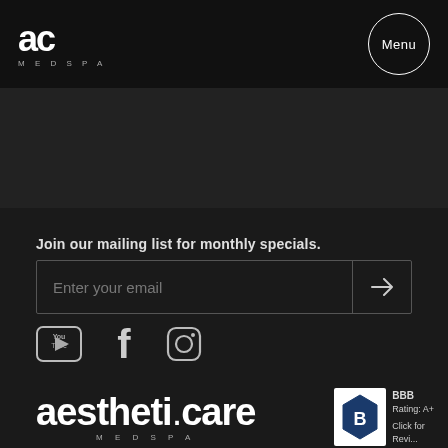[Figure (logo): AC Medspa logo — large 'ac' letters with 'MEDSPA' in small caps below, white on dark header]
[Figure (logo): Menu button — circular outline button with text 'Menu' on top right of header]
Join our mailing list for monthly specials.
[Figure (screenshot): Email input field with placeholder 'Enter your email' and a right-arrow submit button, bordered box]
[Figure (logo): Social media icons: YouTube, Facebook, Instagram — white icons on dark background]
[Figure (logo): aestheti.care MEDSPA logo — large white text with 'MEDSPA' in small caps below]
[Figure (logo): BBB logo badge with diamond shape and text 'BBB Rating: A+ Click for Review']